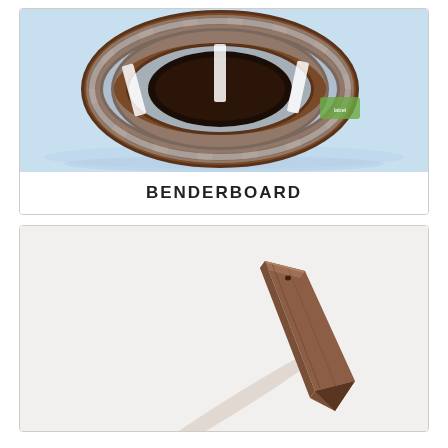[Figure (photo): A coiled roll of brown benderboard edging wrapped in clear plastic packaging, photographed against a light blue background.]
BENDERBOARD
[Figure (photo): A single brown hardboard landscape edging stake, elongated and tapered to a point at one end, photographed against a light grey/white background.]